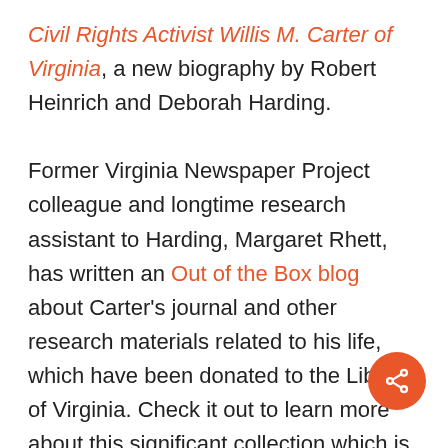Civil Rights Activist Willis M. Carter of Virginia, a new biography by Robert Heinrich and Deborah Harding. Former Virginia Newspaper Project colleague and longtime research assistant to Harding, Margaret Rhett, has written an Out of the Box blog about Carter's journal and other research materials related to his life, which have been donated to the Library of Virginia. Check it out to learn more about this significant collection which is now available thanks to the combined efforts of the parties concerned.
[Figure (other): Orange circular share button with share/network icon in the bottom right corner]